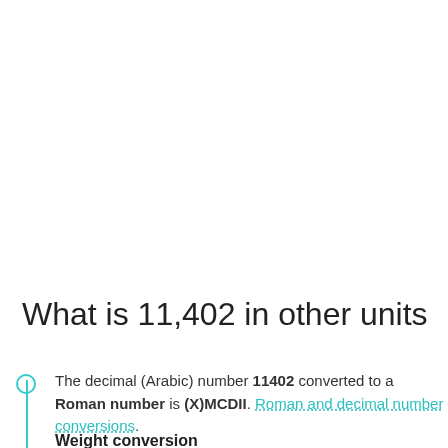What is 11,402 in other units
The decimal (Arabic) number 11402 converted to a Roman number is (X)MCDII. Roman and decimal number conversions.
Weight conversion